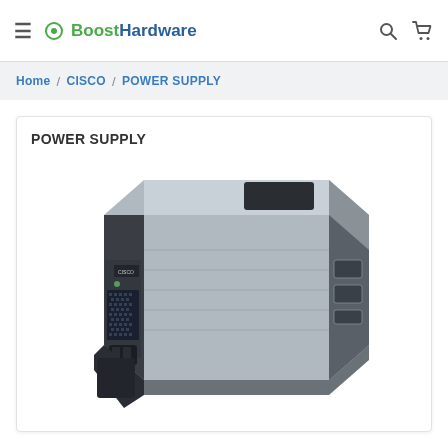≡ ⊙Boost Hardware 🔍 🛒
Home / CISCO / POWER SUPPLY
POWER SUPPLY
[Figure (photo): Cisco power supply unit — a silver/grey rectangular rack-mount power supply module with black front panel, ventilation grille, power connector, and handle/bracket at the front bottom.]